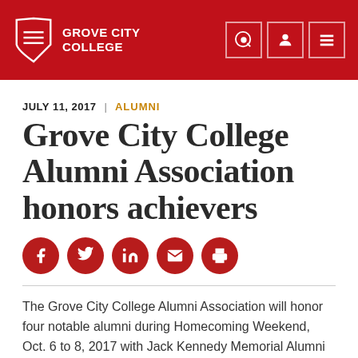Grove City College
JULY 11, 2017 | ALUMNI
Grove City College Alumni Association honors achievers
[Figure (infographic): Row of five dark red circular social share buttons: Facebook, Twitter, LinkedIn, Email, Print]
The Grove City College Alumni Association will honor four notable alumni during Homecoming Weekend, Oct. 6 to 8, 2017 with Jack Kennedy Memorial Alumni Achievement Awards.